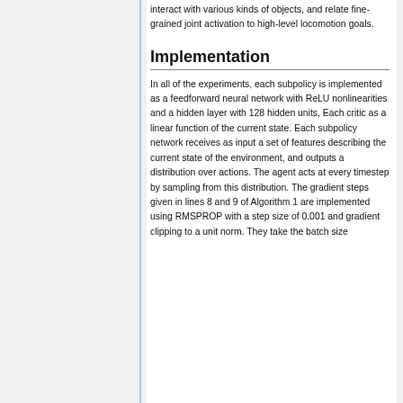interact with various kinds of objects, and relate fine-grained joint activation to high-level locomotion goals.
Implementation
In all of the experiments, each subpolicy is implemented as a feedforward neural network with ReLU nonlinearities and a hidden layer with 128 hidden units, Each critic as a linear function of the current state. Each subpolicy network receives as input a set of features describing the current state of the environment, and outputs a distribution over actions. The agent acts at every timestep by sampling from this distribution. The gradient steps given in lines 8 and 9 of Algorithm 1 are implemented using RMSPROP with a step size of 0.001 and gradient clipping to a unit norm. They take the batch size